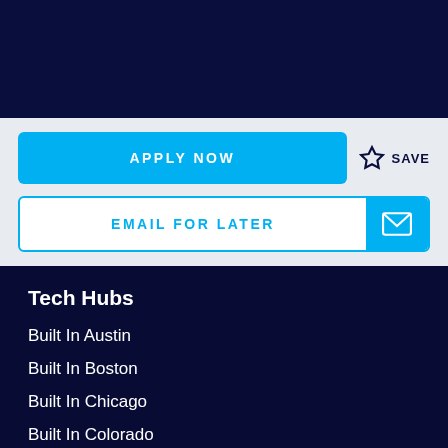[Figure (screenshot): Dark navy top banner area]
APPLY NOW
SAVE
EMAIL FOR LATER
Tech Hubs
Built In Austin
Built In Boston
Built In Chicago
Built In Colorado
Built In LA
Built In NYC